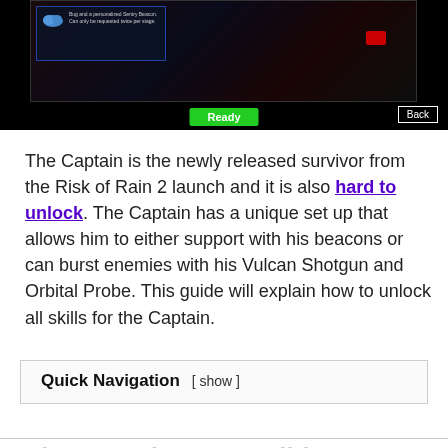[Figure (screenshot): Game screenshot showing a dark scene with a UI panel on the left side, a small cloud icon, game text, a red element on the right, a green 'Ready' button at the bottom center, and a 'Back' button at the bottom right.]
The Captain is the newly released survivor from the Risk of Rain 2 launch and it is also hard to unlock. The Captain has a unique set up that allows him to either support with his beacons or can burst enemies with his Vulcan Shotgun and Orbital Probe. This guide will explain how to unlock all skills for the Captain.
Quick Navigation [ show ]
The Captain Best Builds